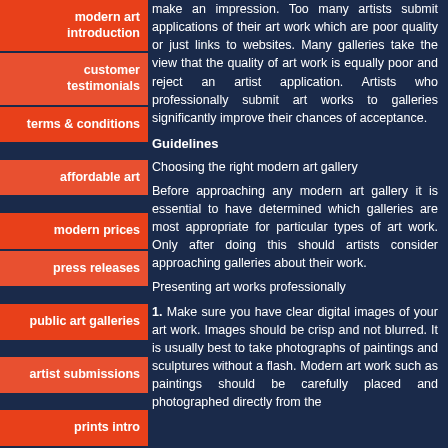modern art introduction
customer testimonials
terms & conditions
affordable art
modern prices
press releases
public art galleries
artist submissions
prints intro
make an impression. Too many artists submit applications of their art work which are poor quality or just links to websites. Many galleries take the view that the quality of art work is equally poor and reject an artist application. Artists who professionally submit art works to galleries significantly improve their chances of acceptance.
Guidelines
Choosing the right modern art gallery
Before approaching any modern art gallery it is essential to have determined which galleries are most appropriate for particular types of art work. Only after doing this should artists consider approaching galleries about their work.
Presenting art works professionally
1. Make sure you have clear digital images of your art work. Images should be crisp and not blurred. It is usually best to take photographs of paintings and sculptures without a flash. Modern art work such as paintings should be carefully placed and photographed directly from the